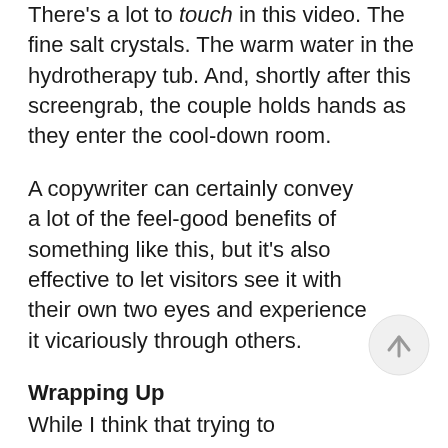There's a lot to touch in this video. The fine salt crystals. The warm water in the hydrotherapy tub. And, shortly after this screengrab, the couple holds hands as they enter the cool-down room.
A copywriter can certainly convey a lot of the feel-good benefits of something like this, but it's also effective to let visitors see it with their own two eyes and experience it vicariously through others.
[Figure (other): Circular up-arrow navigation button]
Wrapping Up
While I think that trying to